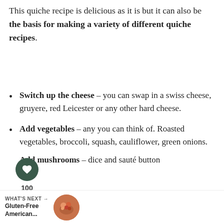This quiche recipe is delicious as it is but it can also be the basis for making a variety of different quiche recipes.
Switch up the cheese – you can swap in a swiss cheese, gruyere, red Leicester or any other hard cheese.
Add vegetables – any you can think of. Roasted vegetables, broccoli, squash, cauliflower, green onions.
Add mushrooms – dice and sauté button mushrooms, shitake or any mixture of mushrooms. Add in along with the cheese.
WHAT'S NEXT → Gluten-Free American...